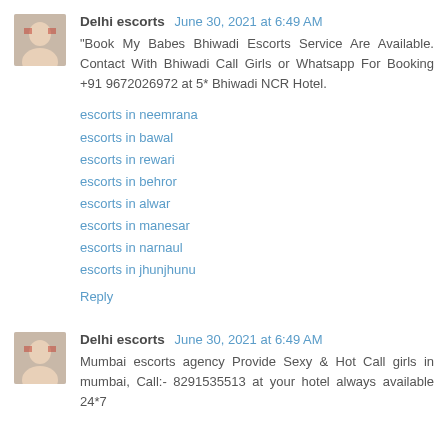Delhi escorts  June 30, 2021 at 6:49 AM
"Book My Babes Bhiwadi Escorts Service Are Available. Contact With Bhiwadi Call Girls or Whatsapp For Booking +91 9672026972 at 5* Bhiwadi NCR Hotel.
escorts in neemrana
escorts in bawal
escorts in rewari
escorts in behror
escorts in alwar
escorts in manesar
escorts in narnaul
escorts in jhunjhunu
Reply
Delhi escorts  June 30, 2021 at 6:49 AM
Mumbai escorts agency Provide Sexy & Hot Call girls in mumbai, Call:- 8291535513 at your hotel always available 24*7